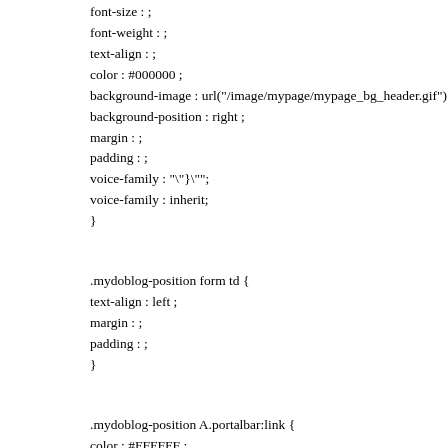font-size : ;
font-weight : ;
text-align : ;
color : #000000 ;
background-image : url("/image/mypage/mypage_bg_header.gif") ;
background-position : right ;
margin : ;
padding : ;
voice-family : "\"}\""; 
voice-family : inherit;
}
.mydoblog-position form td {
text-align : left ;
margin : ;
padding : ;
}
.mydoblog-position A.portalbar:link {
color : #FFFFFF ;
text-decoration : none ;
}
.mydoblog-position A.portalbar:active {
color : #FFFFFF ;
text-decoration :